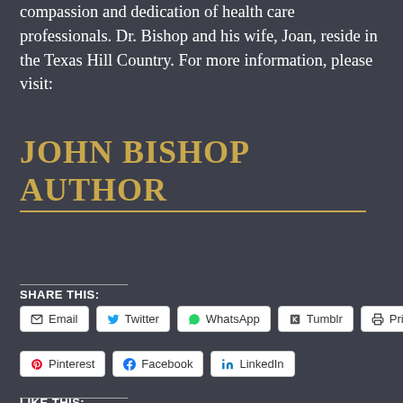compassion and dedication of health care professionals. Dr. Bishop and his wife, Joan, reside in the Texas Hill Country. For more information, please visit:
JOHN BISHOP AUTHOR
SHARE THIS:
Email  Twitter  WhatsApp  Tumblr  Print  Pinterest  Facebook  LinkedIn
LIKE THIS: